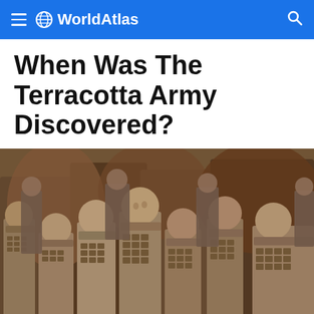WorldAtlas
When Was The Terracotta Army Discovered?
[Figure (photo): Rows of ancient Chinese terracotta warrior statues, showing detailed armor and varied facial expressions, photographed in their excavation pit with reddish-brown earthen walls behind them.]